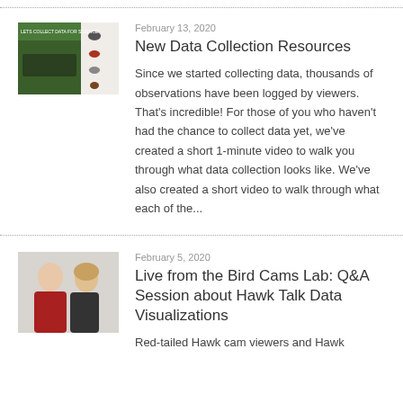[Figure (photo): Thumbnail image showing bird watching data collection materials with bird illustrations]
February 13, 2020
New Data Collection Resources
Since we started collecting data, thousands of observations have been logged by viewers. That's incredible! For those of you who haven't had the chance to collect data yet, we've created a short 1-minute video to walk you through what data collection looks like.  We've also created a short video to walk through what each of the...
[Figure (photo): Thumbnail photo of two people, a man and a woman, appearing to present or discuss something]
February 5, 2020
Live from the Bird Cams Lab: Q&A Session about Hawk Talk Data Visualizations
Red-tailed Hawk cam viewers and Hawk